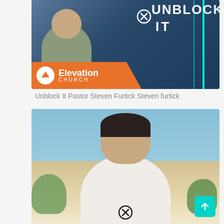[Figure (screenshot): Screenshot of a mobile app showing a video thumbnail for 'Unblock It' sermon by Pastor Steven Furtick at Elevation Church. A man in a grey t-shirt is speaking into a microphone with one hand raised. Teal vertical lines are visible on the right side. An orange Elevation Church banner with logo is at the bottom of the image. An X circle icon is overlaid on the image.]
Unblock It Pastor Steven Furtick Steven furtick
[Figure (photo): Photo of a young man with dark hair and light beard wearing a white open-collar shirt, photographed outdoors against a blue sky with trees in the background. An X circle icon is overlaid at the bottom center. A teal up-arrow button appears in the bottom right corner.]